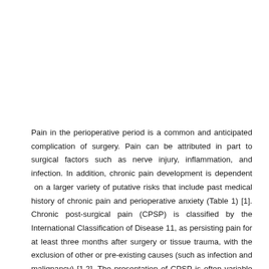Pain in the perioperative period is a common and anticipated complication of surgery. Pain can be attributed in part to surgical factors such as nerve injury, inflammation, and infection. In addition, chronic pain development is dependent on a larger variety of putative risks that include past medical history of chronic pain and perioperative anxiety (Table 1) [1]. Chronic post-surgical pain (CPSP) is classified by the International Classification of Disease 11, as persisting pain for at least three months after surgery or tissue trauma, with the exclusion of other or pre-existing causes (such as infection and malignancy) [1,2]. The presentation of CPSP is often variable and may occur in relation to deep tissue or skin trauma, at the surgical site.